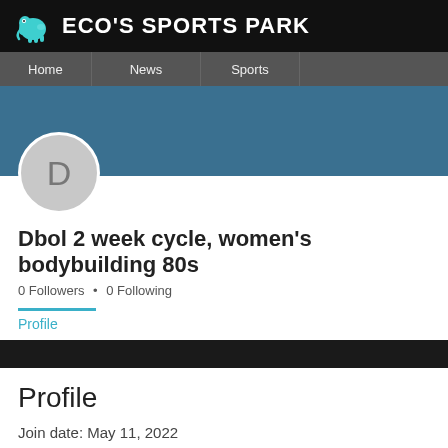ECO'S SPORTS PARK
Home  News  Sports
[Figure (other): Teal/blue cover banner background]
[Figure (other): User avatar circle with letter D]
Dbol 2 week cycle, women's bodybuilding 80s
0 Followers • 0 Following
Profile
Profile
Join date: May 11, 2022